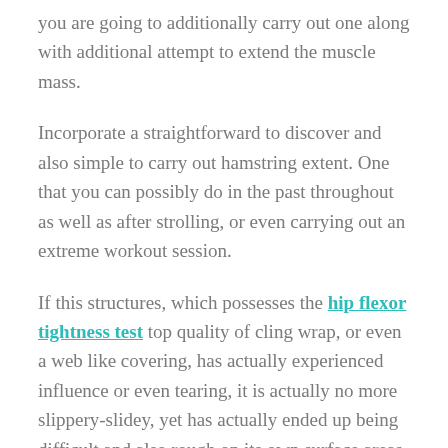you are going to additionally carry out one along with additional attempt to extend the muscle mass.
Incorporate a straightforward to discover and also simple to carry out hamstring extent. One that you can possibly do in the past throughout as well as after strolling, or even carrying out an extreme workout session.
If this structures, which possesses the hip flexor tightness test top quality of cling wrap, or even a web like covering, has actually experienced influence or even tearing, it is actually no more slippery-slidey, yet has actually ended up being difficult and also rough on its own surface areas. Recurring extending are going to certainly not essentially assist receive you